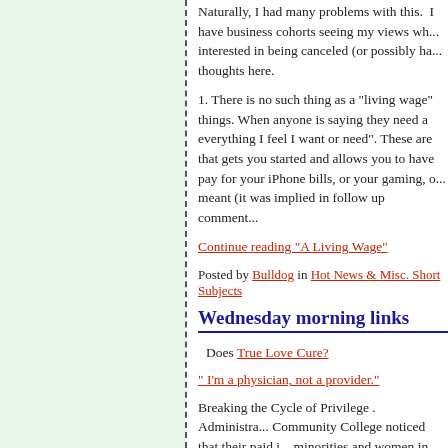Naturally, I had many problems with this. I have business cohorts seeing my views wh... interested in being canceled (or possibly ha... thoughts here.
1. There is no such thing as a "living wage" things. When anyone is saying they need a everything I feel I want or need". These are that gets you started and allows you to have pay for your iPhone bills, or your gaming, o... meant (it was implied in follow up comment...
Continue reading "A Living Wage"
Posted by Bulldog in Hot News & Misc. Short Subjects
Wednesday morning links
Does True Love Cure?
" I'm a physician, not a provider."
Breaking the Cycle of Privilege . Administra... Community College noticed that their paid i... minorities and women in the numbers they fixed it.
'Sanctuary City' NYC Buckles As Migrant H... Apart